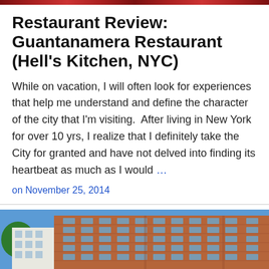[Figure (photo): Top strip photo of people in red clothing]
Restaurant Review: Guantanamera Restaurant (Hell's Kitchen, NYC)
While on vacation, I will often look for experiences  that help me understand and define the character of the city that I'm visiting.  After living in New York for over 10 yrs, I realize that I definitely take the City for granted and have not delved into finding its heartbeat as much as I would …
on November 25, 2014
[Figure (photo): Photo of a brick apartment building against a blue sky, with yellow signage visible at the bottom]